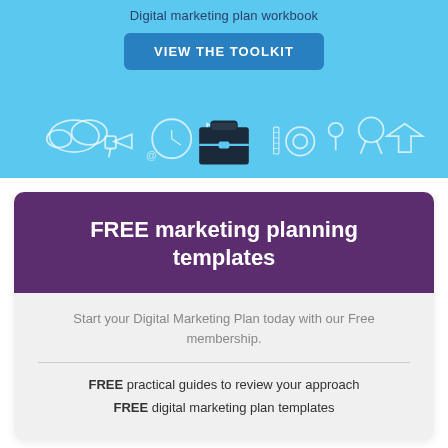[Figure (illustration): Blue banner with marketing icons/illustrations and a briefcase icon in the center. Includes a 'VIEW THE TOOLKIT' button and subtitle 'Digital marketing plan workbook'.]
FREE marketing planning templates
Start your Digital Marketing Plan today with our Free membership.
FREE practical guides to review your approach
FREE digital marketing plan templates